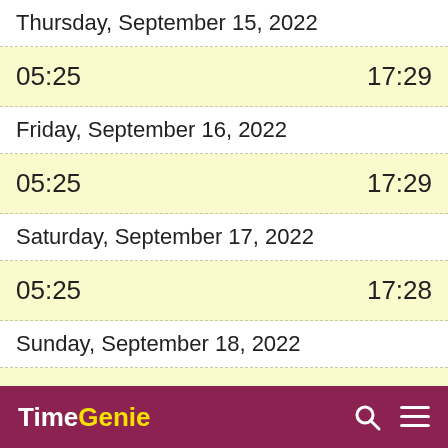Thursday, September 15, 2022
05:25   17:29
Friday, September 16, 2022
05:25   17:29
Saturday, September 17, 2022
05:25   17:28
Sunday, September 18, 2022
05:24   17:28
TimeGenie